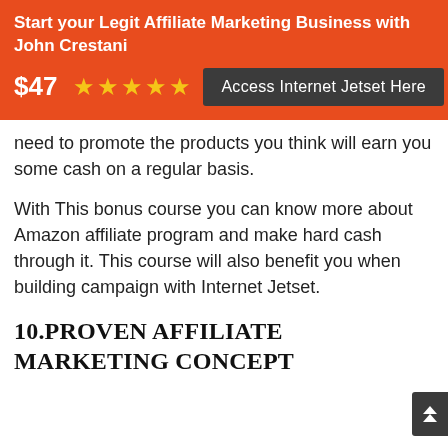Start your Legit Affiliate Marketing Business with John Crestani
$47 ★★★★★  Access Internet Jetset Here
need to promote the products you think will earn you some cash on a regular basis.
With This bonus course you can know more about Amazon affiliate program and make hard cash through it. This course will also benefit you when building campaign with Internet Jetset.
10.PROVEN AFFILIATE MARKETING CONCEPT